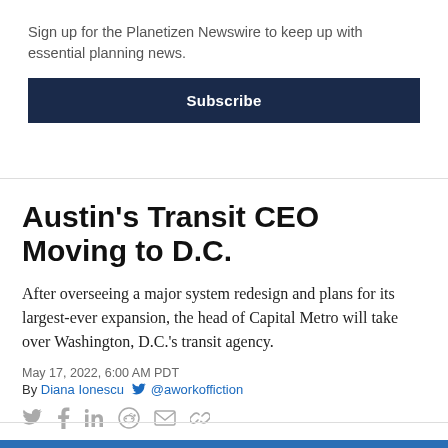Sign up for the Planetizen Newswire to keep up with essential planning news.
Subscribe
Austin's Transit CEO Moving to D.C.
After overseeing a major system redesign and plans for its largest-ever expansion, the head of Capital Metro will take over Washington, D.C.'s transit agency.
May 17, 2022, 6:00 AM PDT
By Diana Ionescu @aworkoffiction